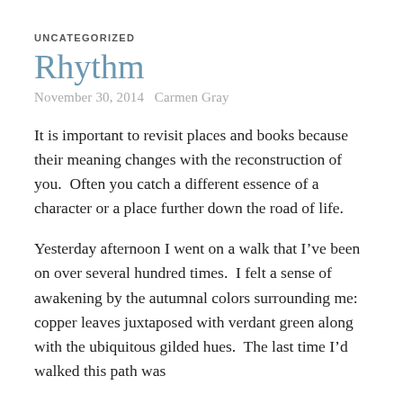UNCATEGORIZED
Rhythm
November 30, 2014   Carmen Gray
It is important to revisit places and books because their meaning changes with the reconstruction of you.  Often you catch a different essence of a character or a place further down the road of life.
Yesterday afternoon I went on a walk that I've been on over several hundred times.  I felt a sense of awakening by the autumnal colors surrounding me: copper leaves juxtaposed with verdant green along with the ubiquitous gilded hues.  The last time I'd walked this path was